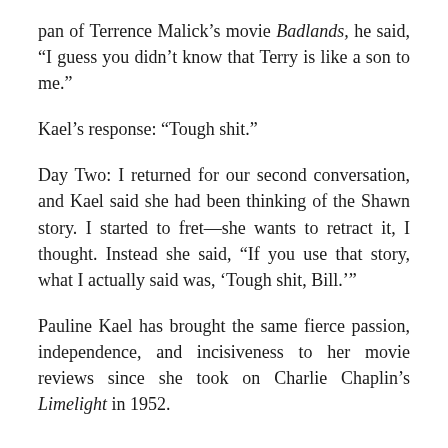pan of Terrence Malick’s movie Badlands, he said, “I guess you didn’t know that Terry is like a son to me.”
Kael’s response: “Tough shit.”
Day Two: I returned for our second conversation, and Kael said she had been thinking of the Shawn story. I started to fret—she wants to retract it, I thought. Instead she said, “If you use that story, what I actually said was, ‘Tough shit, Bill.’”
Pauline Kael has brought the same fierce passion, independence, and incisiveness to her movie reviews since she took on Charlie Chaplin’s Limelight in 1952.